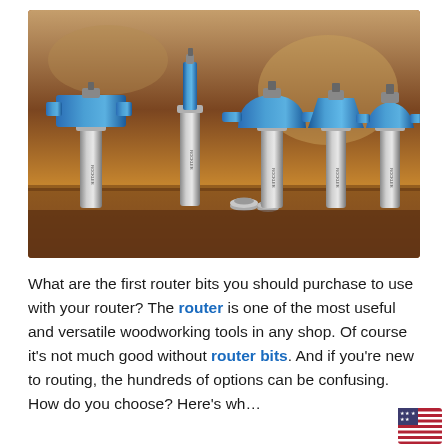[Figure (photo): Five blue and silver router bits standing upright on a wooden surface, with small metal bearings in front, warm blurred wood background]
What are the first router bits you should purchase to use with your router? The router is one of the most useful and versatile woodworking tools in any shop. Of course it's not much good without router bits. And if you're new to routing, the hundreds of options can be confusing. How do you choose? Here's wh... you need to know to choose the best router bits for...